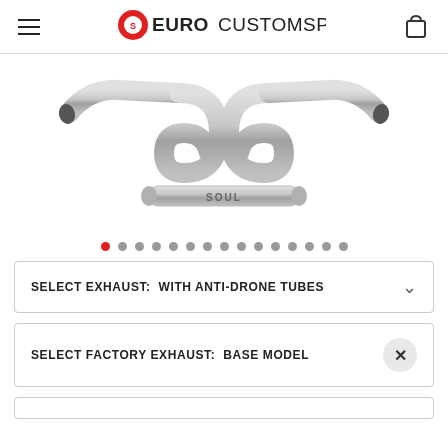Euro Customs PR — navigation header with hamburger menu and cart icon
[Figure (photo): Automotive exhaust pipe system — dual S-curved pipes in silver/stainless finish with anti-drone tubes labeled SOUL, shown on white background]
Image carousel dots: 1 active (red), 14 total dots
SELECT EXHAUST: WITH ANTI-DRONE TUBES
SELECT FACTORY EXHAUST: BASE MODEL